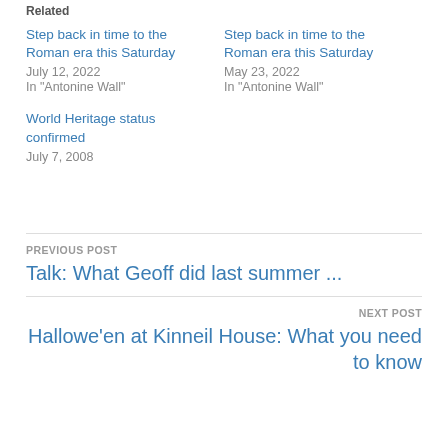Related
Step back in time to the Roman era this Saturday
July 12, 2022
In "Antonine Wall"
Step back in time to the Roman era this Saturday
May 23, 2022
In "Antonine Wall"
World Heritage status confirmed
July 7, 2008
PREVIOUS POST
Talk: What Geoff did last summer …
NEXT POST
Hallowe'en at Kinneil House: What you need to know